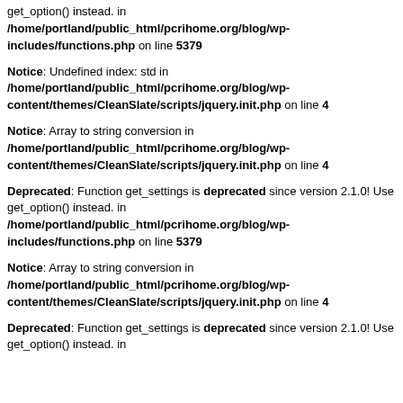get_option() instead. in /home/portland/public_html/pcrihome.org/blog/wp-includes/functions.php on line 5379
Notice: Undefined index: std in /home/portland/public_html/pcrihome.org/blog/wp-content/themes/CleanSlate/scripts/jquery.init.php on line 4
Notice: Array to string conversion in /home/portland/public_html/pcrihome.org/blog/wp-content/themes/CleanSlate/scripts/jquery.init.php on line 4
Deprecated: Function get_settings is deprecated since version 2.1.0! Use get_option() instead. in /home/portland/public_html/pcrihome.org/blog/wp-includes/functions.php on line 5379
Notice: Array to string conversion in /home/portland/public_html/pcrihome.org/blog/wp-content/themes/CleanSlate/scripts/jquery.init.php on line 4
Deprecated: Function get_settings is deprecated since version 2.1.0! Use get_option() instead. in